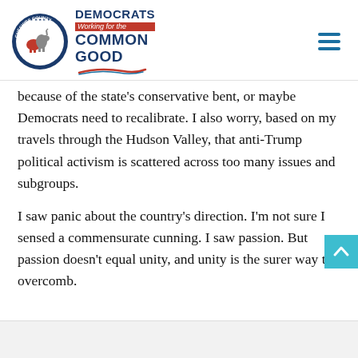[Figure (logo): Cheshire County Democrats circular logo with donkey and elephant, alongside 'Democrats Working for the Common Good' text in blue and red]
because of the state's conservative bent, or maybe Democrats need to recalibrate. I also worry, based on my travels through the Hudson Valley, that anti-Trump political activism is scattered across too many issues and subgroups.
I saw panic about the country's direction. I'm not sure I sensed a commensurate cunning. I saw passion. But passion doesn't equal unity, and unity is the surer way to overcomb.